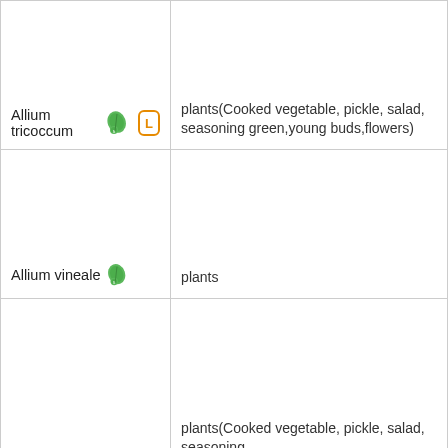| Allium tricoccum [leaf icon] [L] | plants(Cooked vegetable, pickle, salad, seasoning green,young buds,flowers) |
| Allium vineale [leaf icon] | plants |
|  | plants(Cooked vegetable, pickle, salad, seasoning |